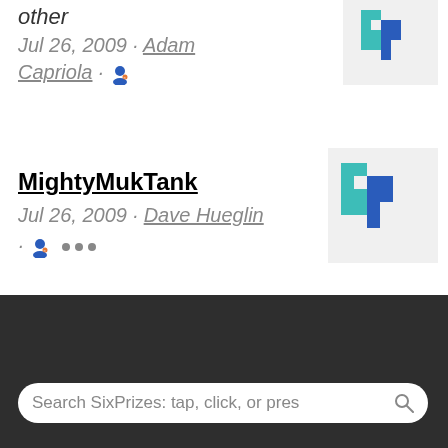other
Jul 26, 2009 · Adam Capriola · 🗨
[Figure (logo): SixPrizes pixel-art logo (teal and blue 6p), small version, top-right thumbnail]
MightyMukTank
Jul 26, 2009 · Dave Hueglin · 🗨 …
[Figure (logo): SixPrizes pixel-art logo (teal and blue 6p), larger version, right thumbnail]
SixPrizes   top ↑   Search SixPrizes: tap, click, or pres 🔍